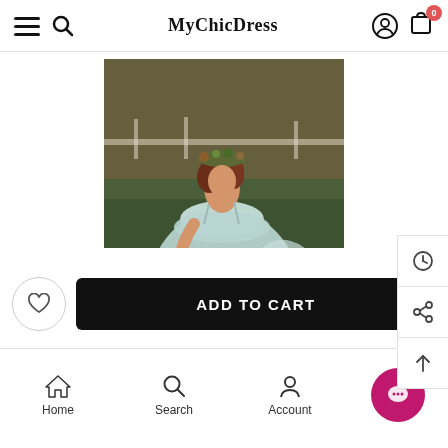MyChicDress — navigation bar with menu, search, logo, account, cart (0)
[Figure (photo): Young girl in a long light-blue chiffon spaghetti-strap dress with ruffled top, wearing a floral crown, spinning outdoors on a grass field at golden hour.]
ADD TO CART
Home  Search  Account  Chat (0)